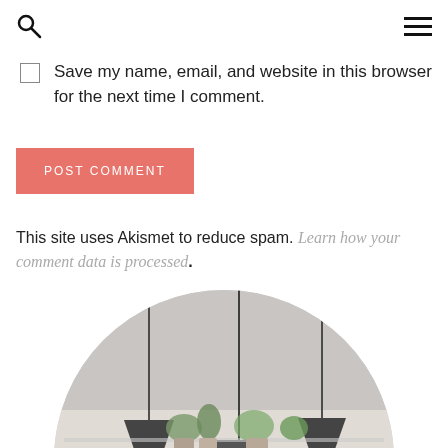[search icon] [hamburger menu]
Save my name, email, and website in this browser for the next time I comment.
POST COMMENT
This site uses Akismet to reduce spam. Learn how your comment data is processed.
[Figure (photo): Circular cropped photo of a woman with long dark hair standing in front of a bar or cafe interior with pendant lights and shelves of bottles in the background.]